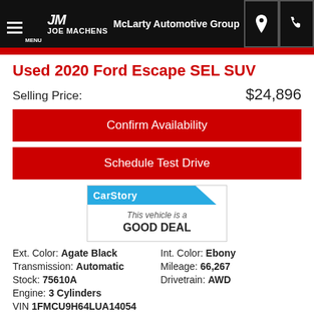JOE MACHENS McLarty Automotive Group
Used 2020 Ford Escape SEL SUV
Selling Price: $24,896
Confirm Availability
Schedule Test Drive
[Figure (logo): CarStory badge: This vehicle is a GOOD DEAL]
Ext. Color: Agate Black   Int. Color: Ebony
Transmission: Automatic   Mileage: 66,267
Stock: 75610A   Drivetrain: AWD
Engine: 3 Cylinders
VIN 1FMCU9H64LUA14054
[Figure (logo): CARFAX 1 OWNER badge]